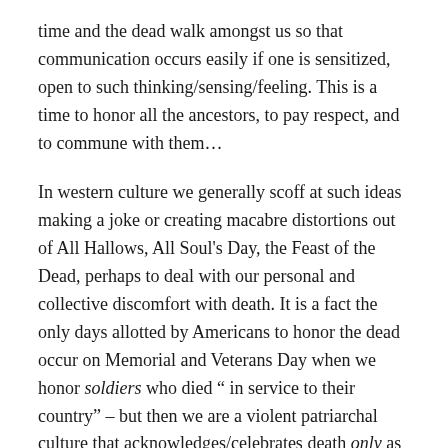time and the dead walk amongst us so that communication occurs easily if one is sensitized, open to such thinking/sensing/feeling. This is a time to honor all the ancestors, to pay respect, and to commune with them...
In western culture we generally scoff at such ideas making a joke or creating macabre distortions out of All Hallows, All Soul's Day, the Feast of the Dead, perhaps to deal with our personal and collective discomfort with death. It is a fact the only days allotted by Americans to honor the dead occur on Memorial and Veterans Day when we honor soldiers who died " in service to their country" – but then we are a violent patriarchal culture that acknowledges/celebrates death only as heroic, and in the context of war. It is up to the rest of us to honor those who have gone before alone, if we do so at all.
I have adopted the Celtic (eight spokes) Wheel of the Year because it follows the natural cycles that I see occurring